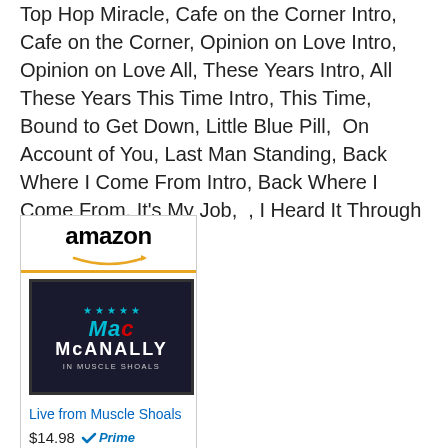Top Hop Miracle, Cafe on the Corner Intro, Cafe on the Corner, Opinion on Love Intro, Opinion on Love All, These Years Intro, All These Years This Time Intro, This Time, Bound to Get Down, Little Blue Pill,  On Account of You, Last Man Standing, Back Where I Come From Intro, Back Where I Come From, It's My Job,  , I Heard It Through The Grapevine.
[Figure (other): Amazon product card for 'Live from Muscle Shoals' by Mac McAnally. Shows amazon logo with orange arrow, album cover art (Mac McAnally In Muscle Shoals), price $14.98 with Prime badge, and Shop now button.]